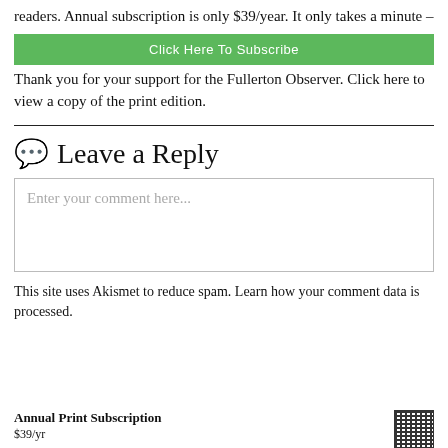readers.  Annual subscription is only $39/year. It only takes a minute –
[Figure (other): Green 'Click Here To Subscribe' button]
Thank you for your support for the Fullerton Observer. Click here to view a copy of the print edition.
Leave a Reply
Enter your comment here...
This site uses Akismet to reduce spam. Learn how your comment data is processed.
Annual Print Subscription